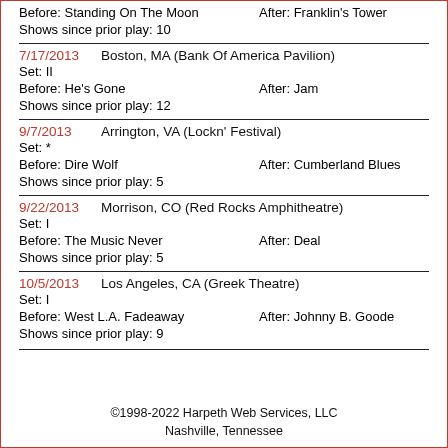Before: Standing On The Moon    After: Franklin's Tower
Shows since prior play: 10
7/17/2013    Boston, MA (Bank Of America Pavilion)
Set: II
Before: He's Gone    After: Jam
Shows since prior play: 12
9/7/2013    Arrington, VA (Lockn' Festival)
Set: *
Before: Dire Wolf    After: Cumberland Blues
Shows since prior play: 5
9/22/2013    Morrison, CO (Red Rocks Amphitheatre)
Set: I
Before: The Music Never    After: Deal
Shows since prior play: 5
10/5/2013    Los Angeles, CA (Greek Theatre)
Set: I
Before: West L.A. Fadeaway    After: Johnny B. Goode
Shows since prior play: 9
©1998-2022 Harpeth Web Services, LLC
Nashville, Tennessee